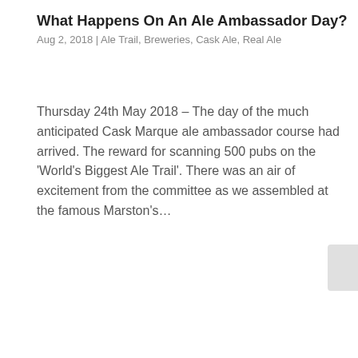What Happens On An Ale Ambassador Day?
Aug 2, 2018 | Ale Trail, Breweries, Cask Ale, Real Ale
Thursday 24th May 2018 – The day of the much anticipated Cask Marque ale ambassador course had arrived. The reward for scanning 500 pubs on the 'World's Biggest Ale Trail'. There was an air of excitement from the committee as we assembled at the famous Marston's…